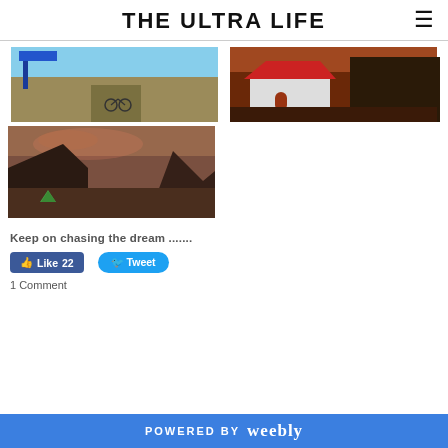THE ULTRA LIFE
[Figure (photo): Grassland landscape with a blue sign post; a cyclist visible in the background]
[Figure (photo): White building with red roof at dusk or dawn, surrounded by dark trees]
[Figure (photo): Mountain landscape at sunset/dusk with a small green tent in the foreground]
Keep on chasing the dream .......
Like 22  Tweet
1 Comment
POWERED BY weebly